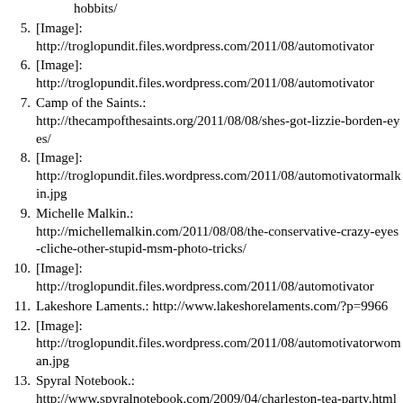hobbits/
5. [Image]: http://troglopundit.files.wordpress.com/2011/08/automotivator
6. [Image]: http://troglopundit.files.wordpress.com/2011/08/automotivator
7. Camp of the Saints.: http://thecampofthesaints.org/2011/08/08/shes-got-lizzie-borden-eyes/
8. [Image]: http://troglopundit.files.wordpress.com/2011/08/automotivatormalkin.jpg
9. Michelle Malkin.: http://michellemalkin.com/2011/08/08/the-conservative-crazy-eyes-cliche-other-stupid-msm-photo-tricks/
10. [Image]: http://troglopundit.files.wordpress.com/2011/08/automotivator
11. Lakeshore Laments.: http://www.lakeshorelaments.com/?p=9966
12. [Image]: http://troglopundit.files.wordpress.com/2011/08/automotivatorwoman.jpg
13. Spyral Notebook.: http://www.spyralnotebook.com/2009/04/charleston-tea-party.html
14. [Image]: http://troglopundit.files.wordpress.com/2011/08/automotivator